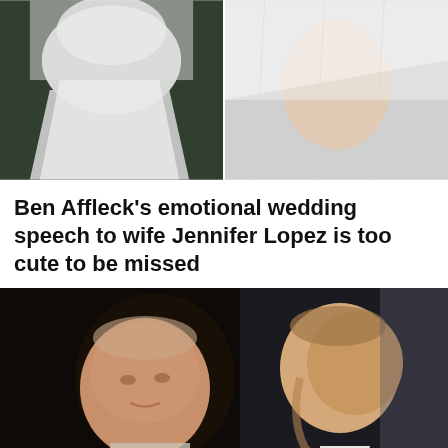[Figure (photo): Two wedding photos side by side at the top — left shows a figure in a white wedding dress/veil against dark background, right shows a close-up of a bride's face with white veil]
Ben Affleck's emotional wedding speech to wife Jennifer Lopez is too cute to be missed
[Figure (photo): Photo of two men — an older man (King Charles) on the left facing right, and a younger man (Prince William) in profile on the right wearing a dark suit with red tie, against a dark background]